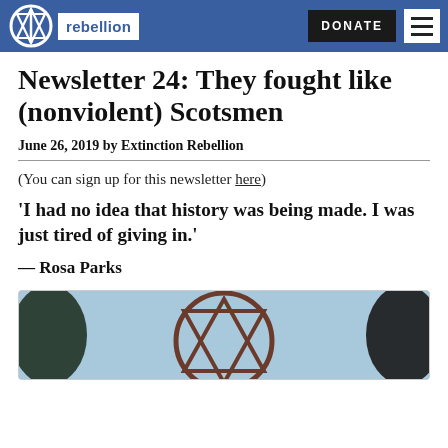Extinction Rebellion — DONATE
Newsletter 24: They fought like (nonviolent) Scotsmen
June 26, 2019 by Extinction Rebellion
(You can sign up for this newsletter here)
'I had no idea that history was being made. I was just tired of giving in.'
— Rosa Parks
[Figure (photo): Extinction Rebellion symbol/logo decoration outdoors, partial view]